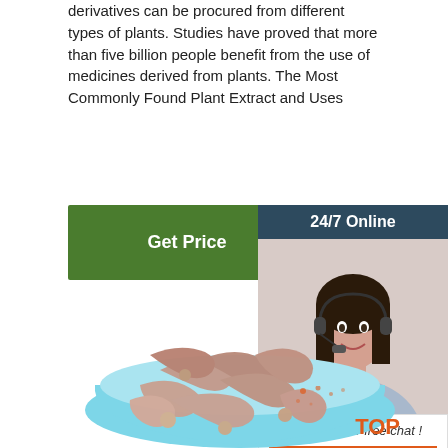derivatives can be procured from different types of plants. Studies have proved that more than five billion people benefit from the use of medicines derived from plants. The Most Commonly Found Plant Extract and Uses
[Figure (other): Green 'Get Price' button]
[Figure (other): Customer service sidebar with '24/7 Online' header, photo of woman with headset, 'Click here for free chat!' text, and orange QUOTATION button]
[Figure (photo): Bowl of worm-like food items (possibly intestines or similar) in a blue bowl]
TOP